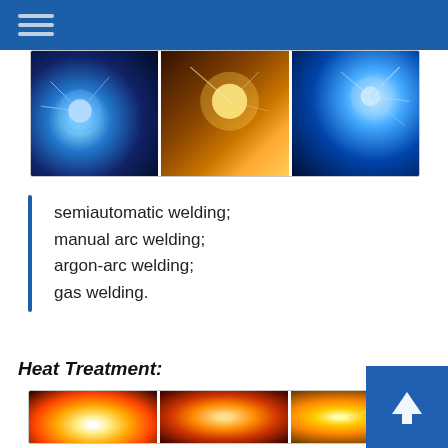[Figure (photo): Three welding photos side by side showing electric arc welding sparks and bright blue-white arc light]
semiautomatic welding;
manual arc welding;
argon-arc welding;
gas welding.
Heat Treatment:
[Figure (photo): Three heat treatment photos showing glowing hot metal and sparks in orange and red tones]